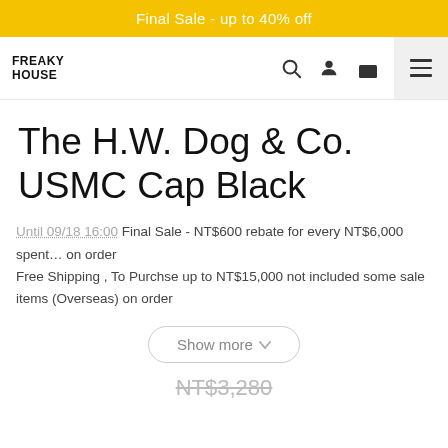Final Sale - up to 40% off
[Figure (logo): Freaky House logo with navigation icons (search, user, bag) and hamburger menu]
The H.W. Dog & Co. USMC Cap Black
Until 09/18 16:00 Final Sale - NT$600 rebate for every NT$6,000 spent... on order
Free Shipping , To Purchse up to NT$15,000 not included some sale items (Overseas) on order
Show more
NT$3,280